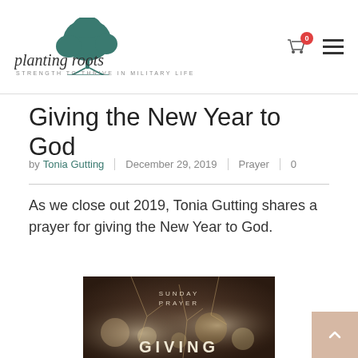planting roots — STRENGTH TO THRIVE IN MILITARY LIFE
Giving the New Year to God
by Tonia Gutting | December 29, 2019 | Prayer | 0
As we close out 2019, Tonia Gutting shares a prayer for giving the New Year to God.
[Figure (photo): Book or card cover image showing 'SUNDAY PRAYER' text at top and 'GIVING' text at bottom, with bokeh/branch background, dark moody aesthetic]